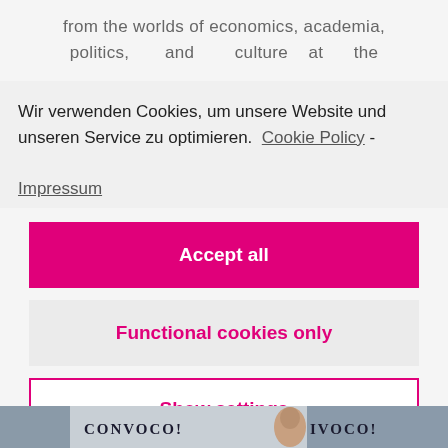from the worlds of economics, academia, politics, and culture at the
Wir verwenden Cookies, um unsere Website und unseren Service zu optimieren. Cookie Policy - Impressum
Accept all
Functional cookies only
Show settings
[Figure (photo): Bottom strip showing partial CONVOCO! logo and a person's face]